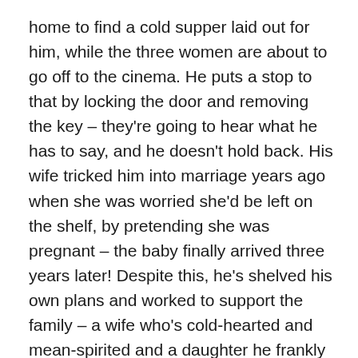home to find a cold supper laid out for him, while the three women are about to go off to the cinema. He puts a stop to that by locking the door and removing the key – they're going to hear what he has to say, and he doesn't hold back. His wife tricked him into marriage years ago when she was worried she'd be left on the shelf, by pretending she was pregnant – the baby finally arrived three years later! Despite this, he's shelved his own plans and worked to support the family – a wife who's cold-hearted and mean-spirited and a daughter he frankly can't stand. Gran has plenty of money of her own, apparently, while he's saved up £572 from his wages, and plans to go off and live a bit while he still has the chance. Plates are thrown, Gran gets slapped (though she recovers enough to be crawling around the floor picking up the £50 he's leaving for his wife and child), and the whole rumpus was very